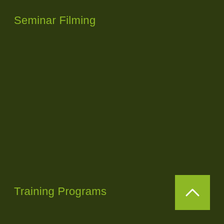Seminar Filming
Training Programs
[Figure (other): A square button with a lighter olive/yellow-green background containing a white upward-pointing chevron arrow icon, positioned in the bottom-right corner of the page.]